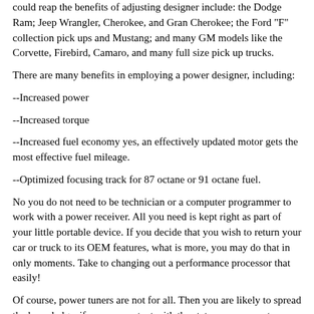could reap the benefits of adjusting designer include: the Dodge Ram; Jeep Wrangler, Cherokee, and Gran Cherokee; the Ford "F" collection pick ups and Mustang; and many GM models like the Corvette, Firebird, Camaro, and many full size pick up trucks.
There are many benefits in employing a power designer, including:
--Increased power
--Increased torque
--Increased fuel economy yes, an effectively updated motor gets the most effective fuel mileage.
--Optimized focusing track for 87 octane or 91 octane fuel.
No you do not need to be technician or a computer programmer to work with a power receiver. All you need is kept right as part of your little portable device. If you decide that you wish to return your car or truck to its OEM features, what is more, you may do that in only moments. Take to changing out a performance processor that easily!
Of course, power tuners are not for all. Then you are likely to spread the knowledge, if you are content with the status quo or arent looking to get the side while operating. For all else, a power